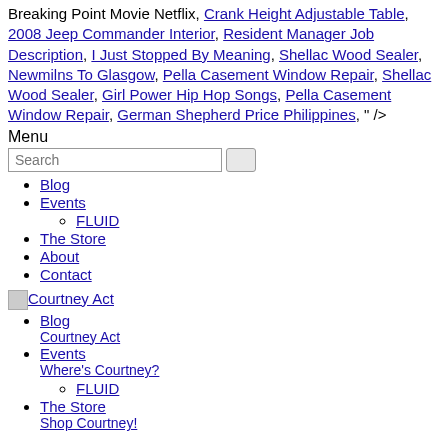Breaking Point Movie Netflix, Crank Height Adjustable Table, 2008 Jeep Commander Interior, Resident Manager Job Description, I Just Stopped By Meaning, Shellac Wood Sealer, Newmilns To Glasgow, Pella Casement Window Repair, Shellac Wood Sealer, Girl Power Hip Hop Songs, Pella Casement Window Repair, German Shepherd Price Philippines, " />
Menu
Blog
Events
FLUID
The Store
About
Contact
[Figure (logo): Courtney Act logo image link]
Blog Courtney Act
Events Where's Courtney?
FLUID
The Store Shop Courtney!